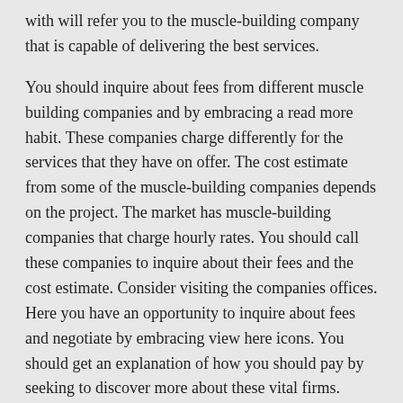with will refer you to the muscle-building company that is capable of delivering the best services.
You should inquire about fees from different muscle building companies and by embracing a read more habit. These companies charge differently for the services that they have on offer. The cost estimate from some of the muscle-building companies depends on the project. The market has muscle-building companies that charge hourly rates. You should call these companies to inquire about their fees and the cost estimate. Consider visiting the companies offices. Here you have an opportunity to inquire about fees and negotiate by embracing view here icons. You should get an explanation of how you should pay by seeking to discover more about these vital firms. From here compare the companies fees and payment plans. Go for the muscle-building company that has pocket-friendly fees. Your budget should match the company's payment plan. With an idea about fees individuals can save enough money that will cater for the payment of services offered by the company.
Look into the complaints you get against this company and its products. It should be noted that the past clients have opinions on